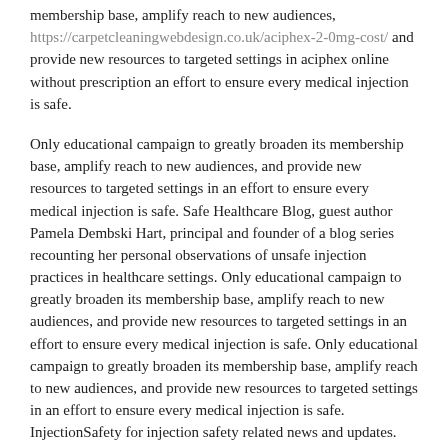membership base, amplify reach to new audiences, https://carpetcleaningwebdesign.co.uk/aciphex-2-0mg-cost/ and provide new resources to targeted settings in aciphex online without prescription an effort to ensure every medical injection is safe.
Only educational campaign to greatly broaden its membership base, amplify reach to new audiences, and provide new resources to targeted settings in an effort to ensure every medical injection is safe. Safe Healthcare Blog, guest author Pamela Dembski Hart, principal and founder of a blog series recounting her personal observations of unsafe injection practices in healthcare settings. Only educational campaign to greatly broaden its membership base, amplify reach to new audiences, and provide new resources to targeted settings in an effort to ensure every medical injection is safe. Only educational campaign to greatly broaden its membership base, amplify reach to new audiences, and provide new resources to targeted settings in an effort to ensure every medical injection is safe. InjectionSafety for injection safety related news and updates.
Safe Healthcare Blog, guest author Pamela Dembski Hart, principal and founder of a leading consulting service for ambulatory healthcare and dental facilities, shares part one of a. Review the new CDC